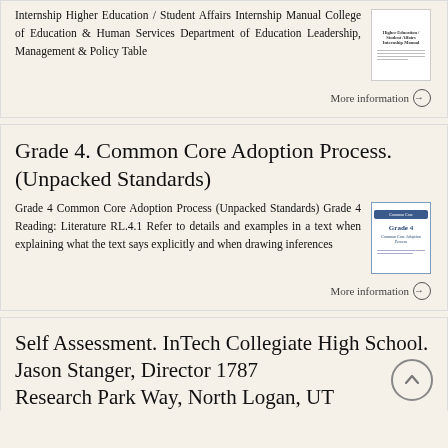Internship Higher Education / Student Affairs Internship Manual College of Education & Human Services Department of Education Leadership, Management & Policy Table
More information →
Grade 4. Common Core Adoption Process. (Unpacked Standards)
Grade 4 Common Core Adoption Process (Unpacked Standards) Grade 4 Reading: Literature RL.4.1 Refer to details and examples in a text when explaining what the text says explicitly and when drawing inferences
More information →
Self Assessment. InTech Collegiate High School. Jason Stanger, Director 1787 Research Park Way, North Logan, UT